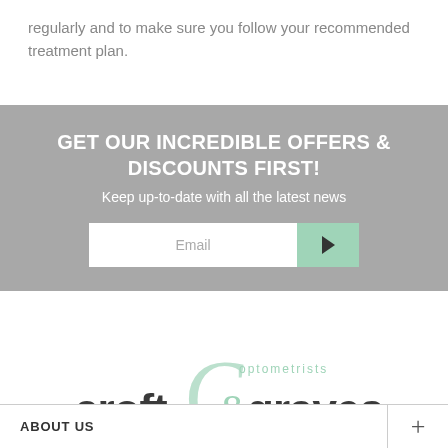regularly and to make sure you follow your recommended treatment plan.
GET OUR INCREDIBLE OFFERS & DISCOUNTS FIRST!
Keep up-to-date with all the latest news
[Figure (infographic): Email signup form with text input and green arrow button]
[Figure (logo): Croft & Graves Optometrists logo with decorative ampersand in mint green]
ABOUT US